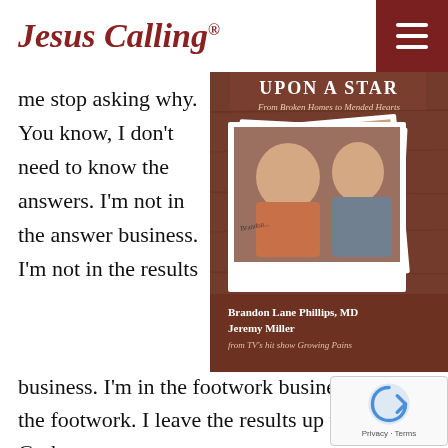Jesus Calling®
me stop asking why. You know, I don't need to know the answers. I'm not in the answer business. I'm not in the results business. I'm in the footwork business. I the footwork. I leave the results up to God.
[Figure (photo): Book cover of 'Upon a Star: From Broken Homes to Mended Hearts' by Brandon Lane Phillips, MD and Jeremy Miller from TV's hit show Growing Pains. Shows two men smiling on the cover.]